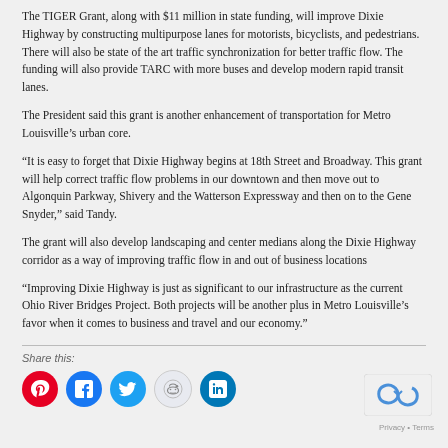The TIGER Grant, along with $11 million in state funding, will improve Dixie Highway by constructing multipurpose lanes for motorists, bicyclists, and pedestrians. There will also be state of the art traffic synchronization for better traffic flow. The funding will also provide TARC with more buses and develop modern rapid transit lanes.
The President said this grant is another enhancement of transportation for Metro Louisville’s urban core.
“It is easy to forget that Dixie Highway begins at 18th Street and Broadway. This grant will help correct traffic flow problems in our downtown and then move out to Algonquin Parkway, Shivery and the Watterson Expressway and then on to the Gene Snyder,” said Tandy.
The grant will also develop landscaping and center medians along the Dixie Highway corridor as a way of improving traffic flow in and out of business locations
“Improving Dixie Highway is just as significant to our infrastructure as the current Ohio River Bridges Project. Both projects will be another plus in Metro Louisville’s favor when it comes to business and travel and our economy.”
Share this: